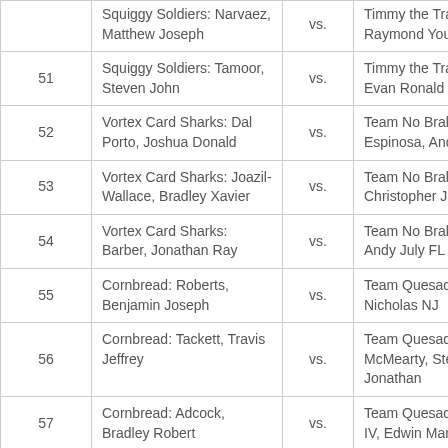| # | Team 1 |  | Team 2 |
| --- | --- | --- | --- |
|  | Squiggy Soldiers: Narvaez, Matthew Joseph | vs. | Timmy the Train: Dur, Raymond Young |
| 51 | Squiggy Soldiers: Tamoor, Steven John | vs. | Timmy the Train: Betzig, Evan Ronald Hahn |
| 52 | Vortex Card Sharks: Dal Porto, Joshua Donald | vs. | Team No Brakes: Espinosa, Andres Felipe |
| 53 | Vortex Card Sharks: Joazil-Wallace, Bradley Xavier | vs. | Team No Brakes: Nunez, Christopher James FL |
| 54 | Vortex Card Sharks: Barber, Jonathan Ray | vs. | Team No Brakes: Garcia, Andy July FL |
| 55 | Cornbread: Roberts, Benjamin Joseph | vs. | Team Quesadillas: Ma, Nicholas NJ |
| 56 | Cornbread: Tackett, Travis Jeffrey | vs. | Team Quesadillas: McMearty, Steven Jonathan |
| 57 | Cornbread: Adcock, Bradley Robert | vs. | Team Quesadillas: Strom IV, Edwin Martin |
| 58 | Cinni and Friends: Cramer, Nicholas Lawerence | vs. | Team 808: Garcia-Bautista, Blake Nicklas |
| 59 | Cinni and Friends: Sciulli, | vs. | Team 808: Manabe, Kody |